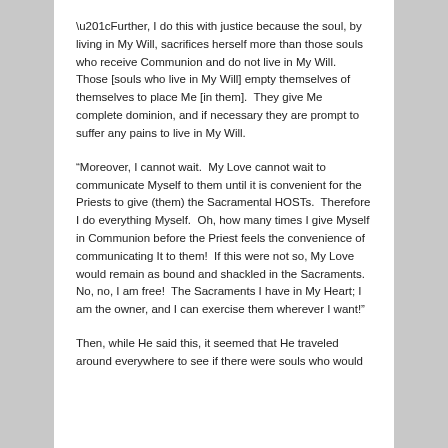“Further, I do this with justice because the soul, by living in My Will, sacrifices herself more than those souls who receive Communion and do not live in My Will.  Those [souls who live in My Will] empty themselves of themselves to place Me [in them].  They give Me complete dominion, and if necessary they are prompt to suffer any pains to live in My Will.
“Moreover, I cannot wait.  My Love cannot wait to communicate Myself to them until it is convenient for the Priests to give (them) the Sacramental HOSTs.  Therefore I do everything Myself.  Oh, how many times I give Myself in Communion before the Priest feels the convenience of communicating It to them!  If this were not so, My Love would remain as bound and shackled in the Sacraments.  No, no, I am free!  The Sacraments I have in My Heart; I am the owner, and I can exercise them wherever I want!”
Then, while He said this, it seemed that He traveled around everywhere to see if there were souls who would